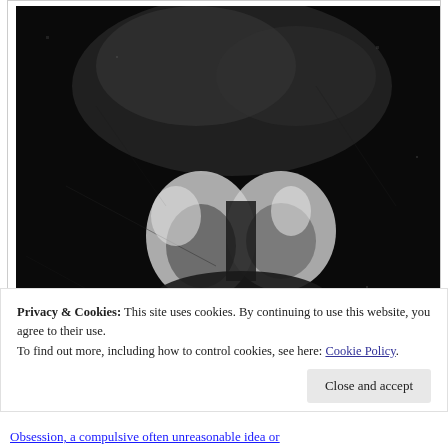[Figure (photo): A dark, grainy black and white photograph showing what appears to be a double-exposed or blurred image of a person's face, with a dreamlike or surreal quality. The background is very dark, with lighter areas forming a face-like shape in the lower-center portion. The image has a distressed, aged appearance.]
Privacy & Cookies: This site uses cookies. By continuing to use this website, you agree to their use.
To find out more, including how to control cookies, see here: Cookie Policy
Close and accept
Obsession, a compulsive often unreasonable idea or